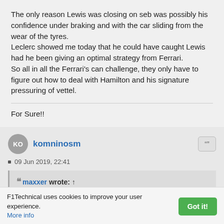The only reason Lewis was closing on seb was possibly his confidence under braking and with the car sliding from the wear of the tyres.
Leclerc showed me today that he could have caught Lewis had he been giving an optimal strategy from Ferrari.
So all in all the Ferrari's can challenge, they only have to figure out how to deal with Hamilton and his signature pressuring of vettel.
For Sure!!
komninosm
09 Jun 2019, 22:41
maxxer wrote: ↑
So in the radio message Seb says "if i had gone to the